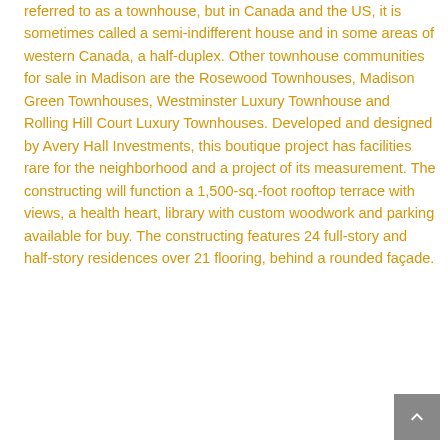referred to as a townhouse, but in Canada and the US, it is sometimes called a semi-indifferent house and in some areas of western Canada, a half-duplex. Other townhouse communities for sale in Madison are the Rosewood Townhouses, Madison Green Townhouses, Westminster Luxury Townhouse and Rolling Hill Court Luxury Townhouses. Developed and designed by Avery Hall Investments, this boutique project has facilities rare for the neighborhood and a project of its measurement. The constructing will function a 1,500-sq.-foot rooftop terrace with views, a health heart, library with custom woodwork and parking available for buy. The constructing features 24 full-story and half-story residences over 21 flooring, behind a rounded façade.